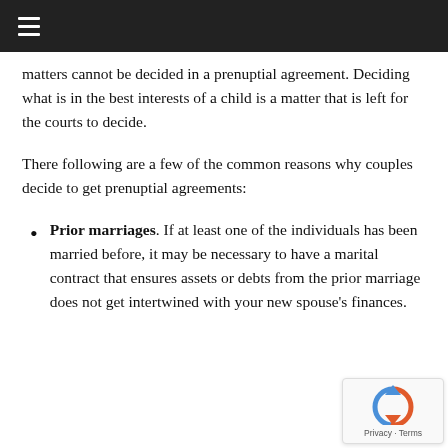≡
matters cannot be decided in a prenuptial agreement. Deciding what is in the best interests of a child is a matter that is left for the courts to decide.
There following are a few of the common reasons why couples decide to get prenuptial agreements:
Prior marriages. If at least one of the individuals has been married before, it may be necessary to have a marital contract that ensures assets or debts from the prior marriage does not get intertwined with your new spouse's finances.